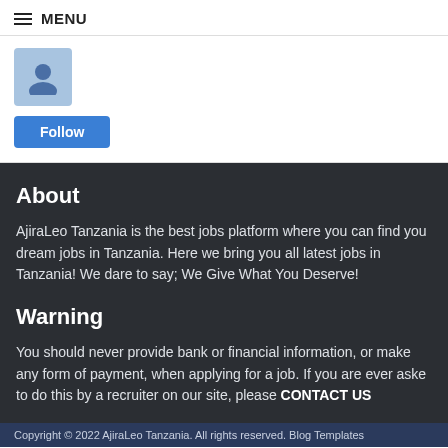MENU
[Figure (illustration): User profile avatar icon — blue square with person silhouette]
Follow
About
AjiraLeo Tanzania is the best jobs platform where you can find your dream jobs in Tanzania. Here we bring you all latest jobs in Tanzania! We dare to say; We Give What You Deserve!
Warning
You should never provide bank or financial information, or make any form of payment, when applying for a job. If you are ever asked to do this by a recruiter on our site, please CONTACT US
Copyright © 2022 AjiraLeo Tanzania. All rights reserved. Blog Templates
INSTALL APP YETU ⇒ BONYEZA HAPA